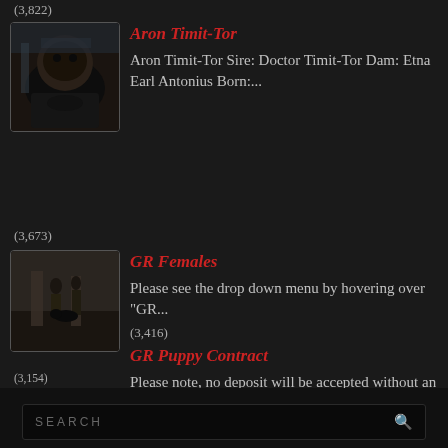(3,822)
[Figure (photo): Thumbnail photo of a dog (appears to be a Rottweiler) near a fountain]
Aron Timit-Tor
Aron Timit-Tor Sire: Doctor Timit-Tor Dam: Etna Earl Antonius Born:...
(3,673)
[Figure (photo): Thumbnail photo showing people and a dog walking on a street]
GR Females
Please see the drop down menu by hovering over "GR...
(3,416)
GR Puppy Contract
Please note, no deposit will be accepted without an interview...
(3,154)
[Figure (photo): Banner image of dark brown textured material (possibly dog food or gravel)]
SEARCH